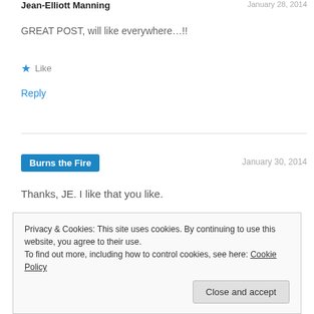Jean-Elliott Manning
January 28, 2014
GREAT POST, will like everywhere...!!
★ Like
Reply
Burns the Fire
January 30, 2014
Thanks, JE. I like that you like.
Privacy & Cookies: This site uses cookies. By continuing to use this website, you agree to their use.
To find out more, including how to control cookies, see here: Cookie Policy
Close and accept